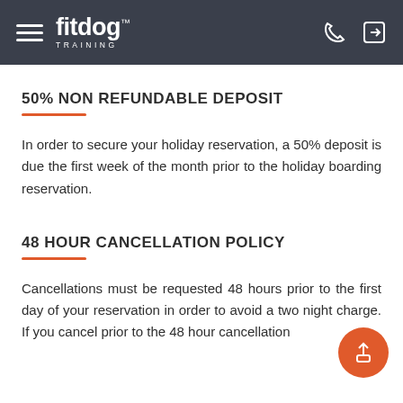fitdog TRAINING
50% NON REFUNDABLE DEPOSIT
In order to secure your holiday reservation, a 50% deposit is due the first week of the month prior to the holiday boarding reservation.
48 HOUR CANCELLATION POLICY
Cancellations must be requested 48 hours prior to the first day of your reservation in order to avoid a two night charge. If you cancel prior to the 48 hour cancellation...